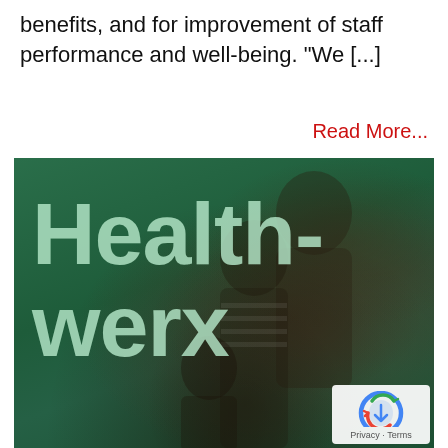benefits, and for improvement of staff performance and well-being. “We […]
Read More…
[Figure (photo): Health-werx branded image showing people (healthcare workers or patients) with a green overlay and large 'Health-werx' text in light green on the image. A reCAPTCHA badge is visible in the bottom-right corner.]